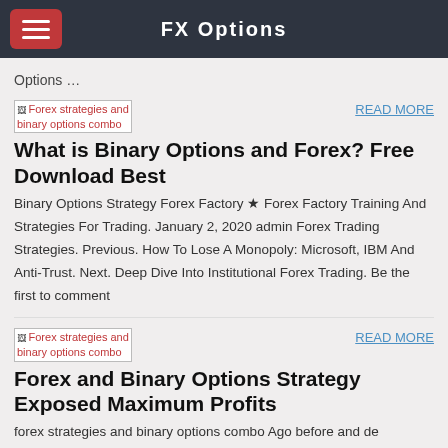FX Options
Options …
[Figure (photo): Broken image placeholder labelled: Forex strategies and binary options combo]
READ MORE
What is Binary Options and Forex? Free Download Best
Binary Options Strategy Forex Factory ★ Forex Factory Training And Strategies For Trading. January 2, 2020 admin Forex Trading Strategies. Previous. How To Lose A Monopoly: Microsoft, IBM And Anti-Trust. Next. Deep Dive Into Institutional Forex Trading. Be the first to comment
[Figure (photo): Broken image placeholder labelled: Forex strategies and binary options combo]
READ MORE
Forex and Binary Options Strategy Exposed Maximum Profits
forex strategies and binary options combo Ago before and de